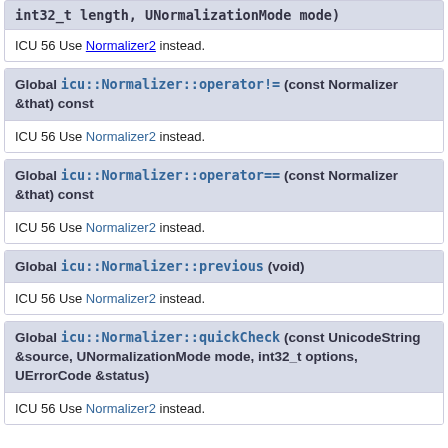int32_t length, UNormalizationMode mode)
ICU 56 Use Normalizer2 instead.
Global icu::Normalizer::operator!= (const Normalizer &that) const
ICU 56 Use Normalizer2 instead.
Global icu::Normalizer::operator== (const Normalizer &that) const
ICU 56 Use Normalizer2 instead.
Global icu::Normalizer::previous (void)
ICU 56 Use Normalizer2 instead.
Global icu::Normalizer::quickCheck (const UnicodeString &source, UNormalizationMode mode, int32_t options, UErrorCode &status)
ICU 56 Use Normalizer2 instead.